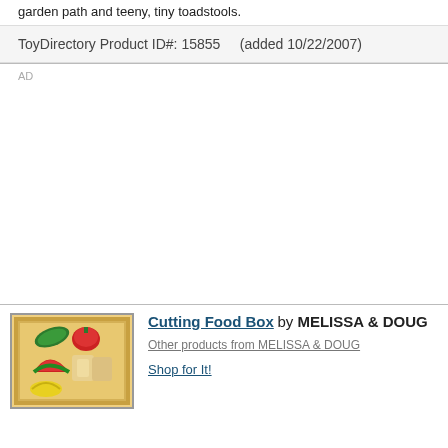garden path and teeny, tiny toadstools.
ToyDirectory Product ID#: 15855     (added 10/22/2007)
AD
[Figure (photo): A wooden box containing toy food items including a green pickle/cucumber, red tomato, watermelon slice, bread slices, and yellow banana or lemon pieces.]
Cutting Food Box by MELISSA & DOUG
Other products from MELISSA & DOUG
Shop for It!